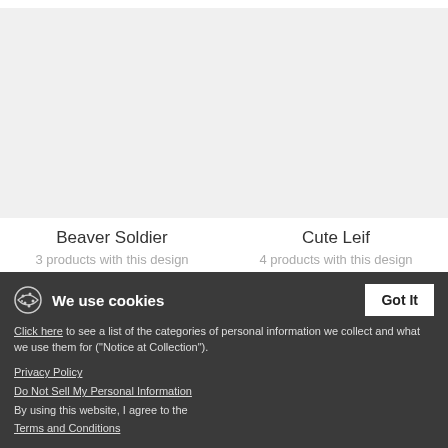[Figure (photo): Product image placeholder for Beaver Soldier design]
Beaver Soldier
3 products with this design
[Figure (photo): Product image placeholder for Cute Leif design]
Cute Leif
4 products with this design
We use cookies
Got It
Click here to see a list of the categories of personal information we collect and what we use them for ("Notice at Collection").
Privacy Policy
Do Not Sell My Personal Information
By using this website, I agree to the Terms and Conditions